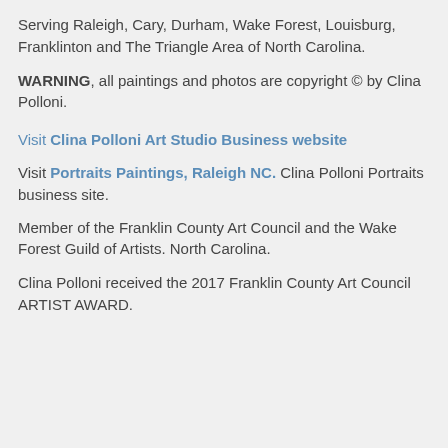Serving Raleigh, Cary, Durham, Wake Forest, Louisburg, Franklinton and The Triangle Area of North Carolina.
WARNING, all paintings and photos are copyright © by Clina Polloni.
Visit Clina Polloni Art Studio Business website
Visit Portraits Paintings, Raleigh NC. Clina Polloni Portraits business site.
Member of the Franklin County Art Council and the Wake Forest Guild of Artists. North Carolina.
Clina Polloni received the 2017 Franklin County Art Council ARTIST AWARD.